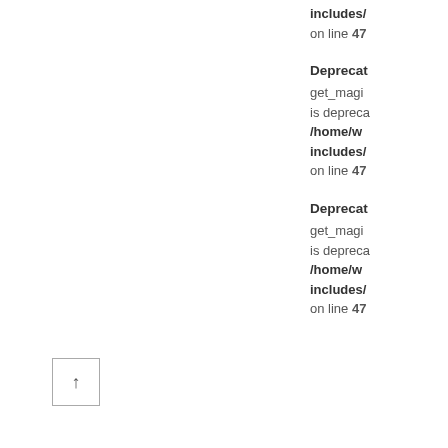includes/ on line 47
Deprecated: get_magic... is deprecated /home/w... includes/ on line 47
Deprecated: get_magic... is deprecated /home/w... includes/ on line 47
[Figure (other): Navigation up arrow button box]